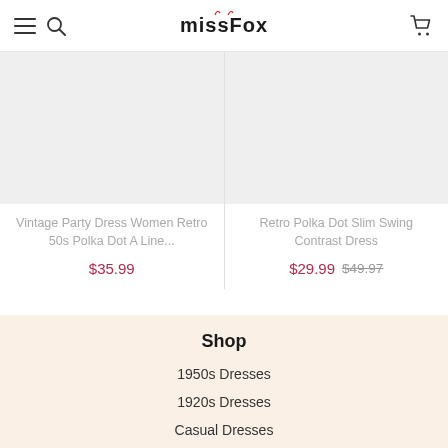missfox
[Figure (photo): Product image placeholder for Vintage Party Dress (light grey rectangle)]
Vintage Party Dress Women Retro 50s Polka Dot A Line...
$35.99
[Figure (photo): Product image placeholder for Retro Polka Dot Slim Swing Contrast Dress (light grey rectangle)]
Retro Polka Dot Slim Swing Contrast Dress
$29.99  $49.97
Shop
1950s Dresses
1920s Dresses
Casual Dresses
Lace Dress
Plus Size